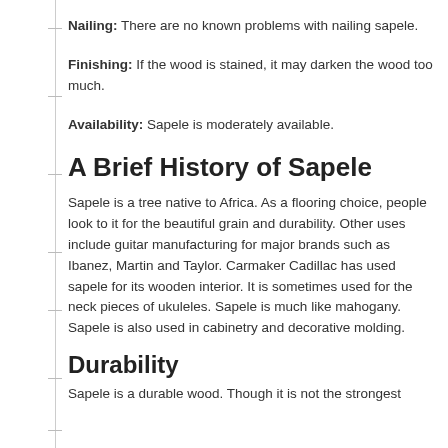Nailing: There are no known problems with nailing sapele.
Finishing: If the wood is stained, it may darken the wood too much.
Availability: Sapele is moderately available.
A Brief History of Sapele
Sapele is a tree native to Africa. As a flooring choice, people look to it for the beautiful grain and durability. Other uses include guitar manufacturing for major brands such as Ibanez, Martin and Taylor. Carmaker Cadillac has used sapele for its wooden interior. It is sometimes used for the neck pieces of ukuleles. Sapele is much like mahogany. Sapele is also used in cabinetry and decorative molding.
Durability
Sapele is a durable wood. Though it is not the strongest